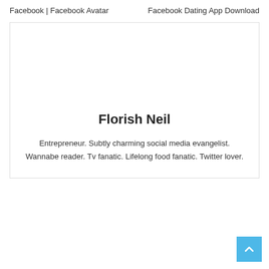Facebook | Facebook Avatar
Facebook Dating App Download
Florish Neil
Entrepreneur. Subtly charming social media evangelist. Wannabe reader. Tv fanatic. Lifelong food fanatic. Twitter lover.